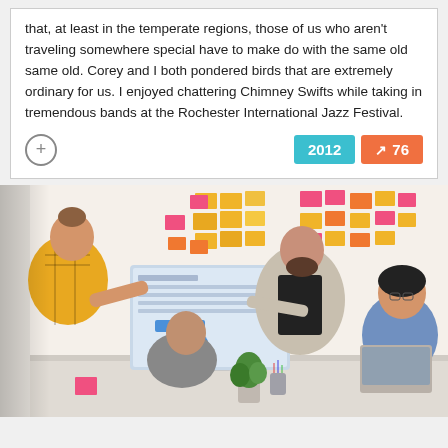that, at least in the temperate regions, those of us who aren't traveling somewhere special have to make do with the same old same old. Corey and I both pondered birds that are extremely ordinary for us. I enjoyed chattering Chimney Swifts while taking in tremendous bands at the Rochester International Jazz Festival.
[Figure (photo): Office meeting scene: a woman in a yellow plaid shirt leaning over a desk toward a computer monitor, a man in a grey blazer and black shirt pointing at the monitor, and a woman with glasses seated at the right looking on. The wall behind is covered with colorful sticky notes in pink, yellow, and orange.]